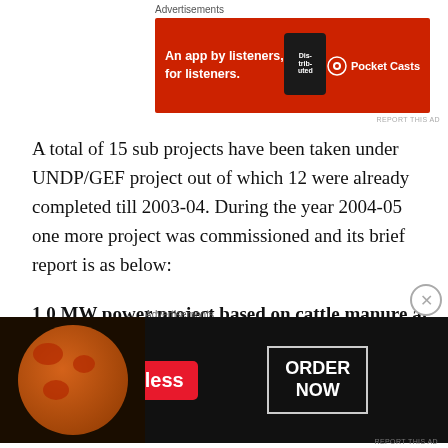[Figure (other): Pocket Casts advertisement banner: red background with text 'An app by listeners, for listeners.' and Pocket Casts logo with phone image showing 'Distributed' podcast]
A total of 15 sub projects have been taken under UNDP/GEF project out of which 12 were already completed till 2003-04. During the year 2004-05 one more project was commissioned and its brief report is as below:
1.0 MW power project based on cattle manure at Haebowal Dairy Complex Ludhiana, Punjab: Haebowal Dairy Complex in Ludhiana, spread over an area of 50 acres, has 1490 dairies with an animal population of 1,50,000 and generate about 2500 tonnes of animal
[Figure (other): Seamless food delivery advertisement: dark background with pizza image on left, Seamless logo in red, and 'ORDER NOW' button on right]